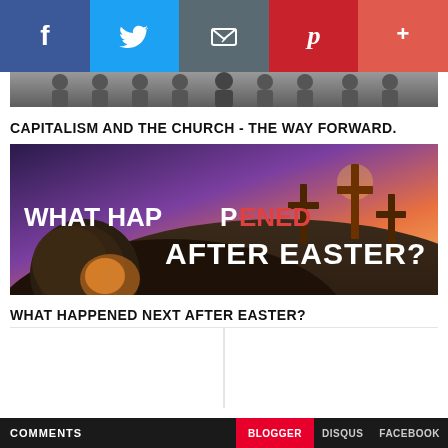[Figure (infographic): Social share bar with Facebook (blue), Twitter (light blue), Email (gray), Pinterest (red/dark), and More/Plus (coral red) buttons]
[Figure (photo): Black and white photo of a group of people]
CAPITALISM AND THE CHURCH - THE WAY FORWARD.
[Figure (photo): Easter image showing three crosses on a hill at sunset with text 'WHAT HAPPENED AFTER EASTER?' overlaid in bold white letters]
WHAT HAPPENED NEXT AFTER EASTER?
[Figure (other): Two blank white columns separated by a vertical line and a horizontal top border]
COMMENTS  BLOGGER  DISQUS  FACEBOOK